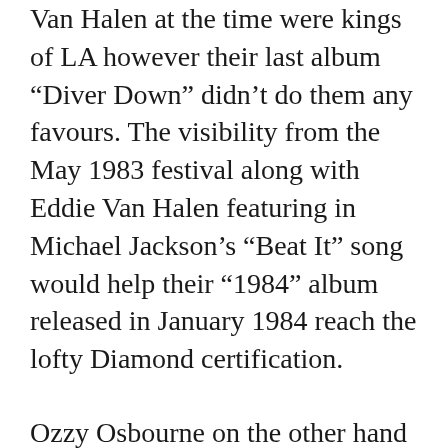Van Halen at the time were kings of LA however their last album “Diver Down” didn’t do them any favours. The visibility from the May 1983 festival along with Eddie Van Halen featuring in Michael Jackson’s “Beat It” song would help their “1984” album released in January 1984 reach the lofty Diamond certification.
Ozzy Osbourne on the other hand was a very different place in his career. He had the momentum with the Blizzard Of Ozz band and then started losing that momentum when Sharon and Ozzy fired Bob Daisley and Lee Kerslake. With the death of